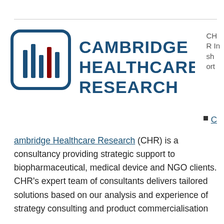[Figure (logo): Cambridge Healthcare Research logo: rounded square with vertical bar lines (dark blue) and one red bar, next to bold text CAMBRIDGE HEALTHCARE RESEARCH in dark blue]
CH
R In
sh
ort
C
ambridge Healthcare Research (CHR) is a consultancy providing strategic support to biopharmaceutical, medical device and NGO clients. CHR's expert team of consultants delivers tailored solutions based on our analysis and experience of strategy consulting and product commercialisation